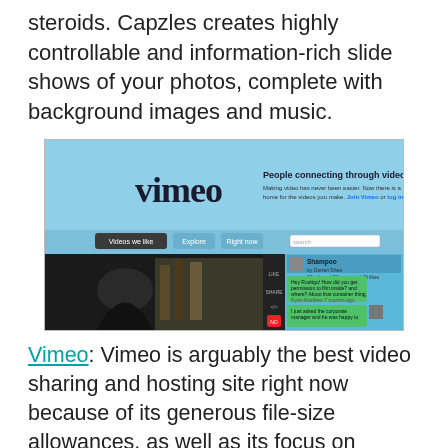steroids. Capzles creates highly controllable and information-rich slide shows of your photos, complete with background images and music.
[Figure (screenshot): Screenshot of the Vimeo website homepage showing the Vimeo logo, tagline 'People connecting through video.', navigation tabs (Videos we like, Explore, Right now), a dark video player area with a silhouette, and a social comment sidebar with green chat bubbles.]
Vimeo: Vimeo is arguably the best video sharing and hosting site right now because of its generous file-size allowances, as well as its focus on professional-grade filmmaking from people who live and breathe it. Worth checking out.
[Figure (screenshot): Partial screenshot of the Sprout website showing the Sprout logo (orange flower icon with 'sprout' text) and a login form on the right with Email, Password, and Forgot Password fields.]